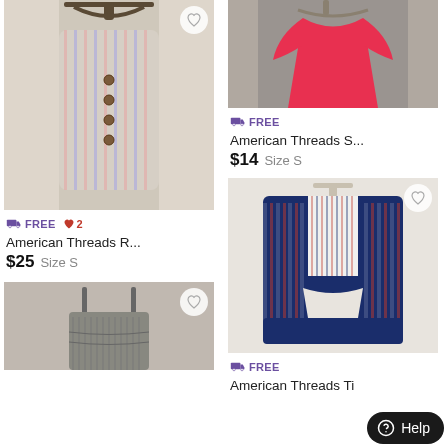[Figure (photo): Striped halter romper on a hanger against a white door background]
=📦 FREE ♥ 2
American Threads R...
$25  Size S
[Figure (photo): Gray striped dress on a hanger, partially cropped]
[Figure (photo): Red top hanging on a door]
=📦 FREE
American Threads S...
$14  Size S
[Figure (photo): Blue and red striped kimono-style top on a hanger]
=📦 FREE
American Threads Ti